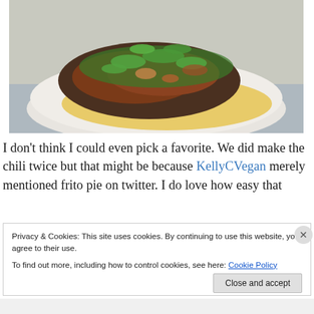[Figure (photo): A bowl containing a taco or tortilla topped with seasoned chopped meat/vegetables and fresh cilantro, served in a white ceramic bowl on a light blue surface.]
I don’t think I could even pick a favorite. We did make the chili twice but that might be because KellyCVegan merely mentioned frito pie on twitter. I do love how easy that
Privacy & Cookies: This site uses cookies. By continuing to use this website, you agree to their use.
To find out more, including how to control cookies, see here: Cookie Policy
Close and accept